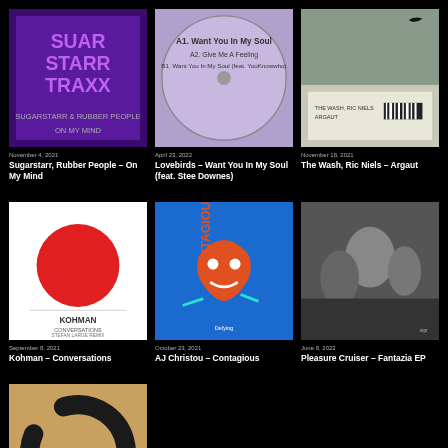[Figure (photo): Sugarstarr Starr Traxx album art - purple/violet design with text]
November 4, 2021
Sugarstarr, Rubber People – On My Mind
[Figure (photo): Lovebirds – Want You In My Soul vinyl/disc art, blue and pink]
April 23, 2022
Lovebirds – Want You In My Soul (feat. Stee Downes)
[Figure (photo): The Wash, Ric Niels – Argaut cover, landscape with hills and label]
November 18, 2021
The Wash, Ric Niels – Argaut
[Figure (photo): Kohman – Conversations album art, white background with red circle]
September 8, 2021
Kohman – Conversations
[Figure (photo): AJ Christou – Contagious, blue orange graffiti art]
October 23, 2021
AJ Christou – Contagious
[Figure (photo): Pleasure Cruiser – Fantazia EP, black and white photo of people]
June 8, 2022
Pleasure Cruiser – Fantazia EP
[Figure (photo): Album art - circular brushstroke on warm background, enso style]